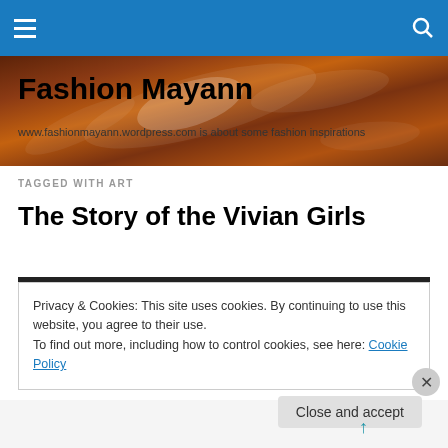Fashion Mayann — navigation bar
[Figure (photo): Chocolate swirl background image behind site header]
Fashion Mayann
www.fashionmayann.wordpress.com is about some fashion inspirations
TAGGED WITH ART
The Story of the Vivian Girls
Privacy & Cookies: This site uses cookies. By continuing to use this website, you agree to their use.
To find out more, including how to control cookies, see here: Cookie Policy
Close and accept